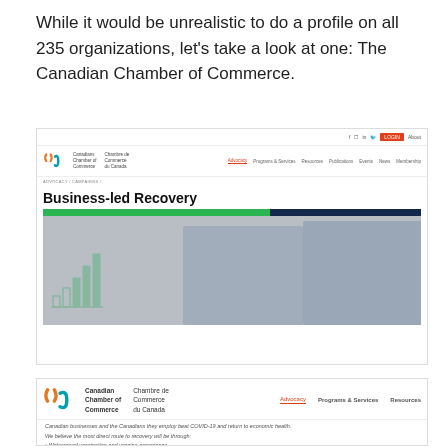While it would be unrealistic to do a profile on all 235 organizations, let's take a look at one: The Canadian Chamber of Commerce.
[Figure (screenshot): Screenshot of the Canadian Chamber of Commerce website showing the 'Business-led Recovery' campaign page with navigation bar, breadcrumb (ADVOCACY / CAMPAIGNS /), bold page title 'Business-led Recovery', and a hero image of two masked workers bumping elbows with green chart bars overlay, plus colored bar at top.]
[Figure (screenshot): Closeup screenshot of Canadian Chamber of Commerce website showing the logo (Canadian Chamber of Commerce / Chambre de Commerce du Canada), navigation links (Advocacy, Programs & Services, Resources), text 'Canadian businesses and the Canadians they employ beat COVID-19 and return to economic health.', 'We believe the most direct route to recovery will be through:', and bullet points including 'Widespread vaccination and vaccine acceptance' and 'The broad use of rapid testing and contact tracing.']